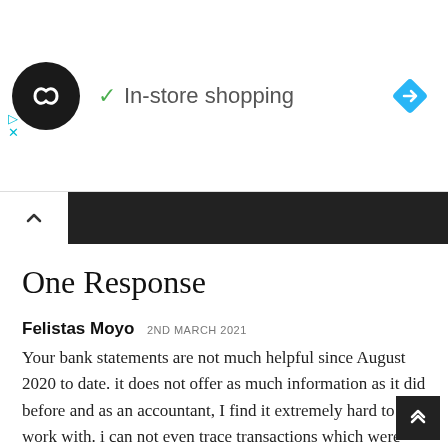[Figure (screenshot): Website header banner showing a circular dark logo with infinity-like symbol, a green checkmark with 'In-store shopping' text, a blue navigation diamond icon, and small ad control icons (play and close).]
[Figure (screenshot): Dark navigation bar with a white tab containing an upward chevron icon.]
One Response
Felistas Moyo 2ND MARCH 2021
Your bank statements are not much helpful since August 2020 to date. it does not offer as much information as it did before and as an accountant, I find it extremely hard to work with. i can not even trace transactions which were done without my knowledge. There is no information of where the card was used,